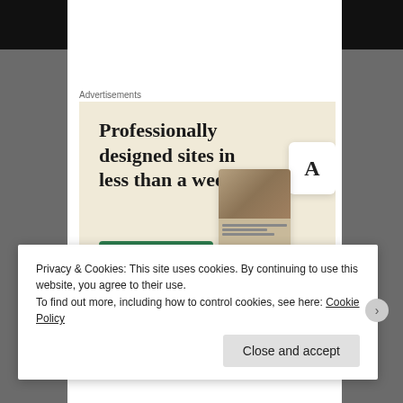[Figure (screenshot): Black video/image area at top of page]
Advertisements
[Figure (screenshot): Advertisement for professionally designed websites: 'Professionally designed sites in less than a week' with green 'Explore options' button and website mockup screenshots on beige background]
Privacy & Cookies: This site uses cookies. By continuing to use this website, you agree to their use.
To find out more, including how to control cookies, see here: Cookie Policy
Close and accept